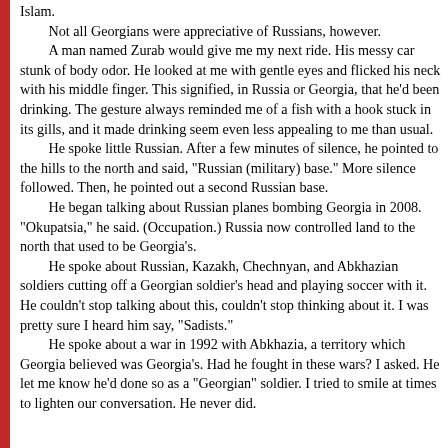Islam.
    Not all Georgians were appreciative of Russians, however.
    A man named Zurab would give me my next ride. His messy car stunk of body odor. He looked at me with gentle eyes and flicked his neck with his middle finger. This signified, in Russia or Georgia, that he'd been drinking. The gesture always reminded me of a fish with a hook stuck in its gills, and it made drinking seem even less appealing to me than usual.
    He spoke little Russian. After a few minutes of silence, he pointed to the hills to the north and said, "Russian (military) base." More silence followed. Then, he pointed out a second Russian base.
    He began talking about Russian planes bombing Georgia in 2008. "Okupatsia," he said. (Occupation.) Russia now controlled land to the north that used to be Georgia's.
    He spoke about Russian, Kazakh, Chechnyan, and Abkhazian soldiers cutting off a Georgian soldier's head and playing soccer with it. He couldn't stop talking about this, couldn't stop thinking about it. I was pretty sure I heard him say, "Sadists."
    He spoke about a war in 1992 with Abkhazia, a territory which Georgia believed was Georgia's. Had he fought in these wars? I asked. He let me know he'd done so as a "Georgian" soldier. I tried to smile at times to lighten our conversation. He never did.